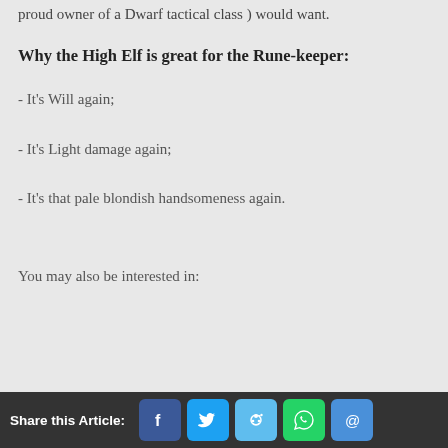proud owner of a Dwarf tactical class ) would want.
Why the High Elf is great for the Rune-keeper:
- It's Will again;
- It's Light damage again;
- It's that pale blondish handsomeness again.
You may also be interested in:
Share this Article: [Facebook] [Twitter] [Reddit] [WhatsApp] [Email]